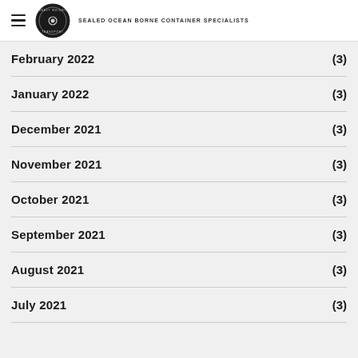Heavy Weight Transport — SEALED OCEAN BORNE CONTAINER SPECIALISTS
February 2022 (3)
January 2022 (3)
December 2021 (3)
November 2021 (3)
October 2021 (3)
September 2021 (3)
August 2021 (3)
July 2021 (3)